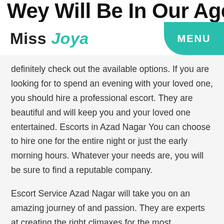Wey Will Be In Our Agency
Miss Joya | MENU
definitely check out the available options. If you are looking for to spend an evening with your loved one, you should hire a professional escort. They are beautiful and will keep you and your loved one entertained. Escorts in Azad Nagar You can choose to hire one for the entire night or just the early morning hours. Whatever your needs are, you will be sure to find a reputable company.
Escort Service Azad Nagar will take you on an amazing journey of and passion. They are experts at creating the right climaxes for the most pleasurable experience. Whether you are looking for a deep-throat blow job, or just want to have fun, you can find the Independent Escorts Azad Nagar to satisfy your needs. Our location escorts are waiting to give you the experience of a lifetime.